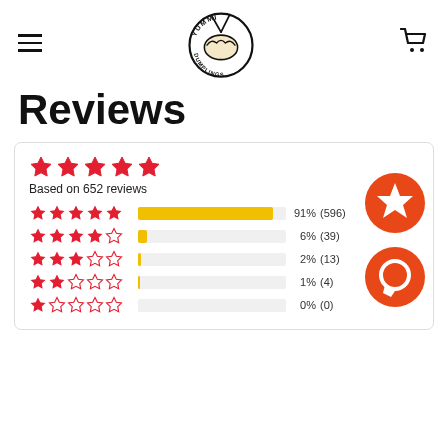Yummi Dumplings — navigation header with hamburger menu, logo, and cart icon
Reviews
[Figure (bar-chart): Star rating distribution for 652 reviews. Overall rating shown as 5 red stars. Breakdown: 5 star 91% (596), 4 star 6% (39), 3 star 2% (13), 2 star 1% (4), 1 star 0% (0).]